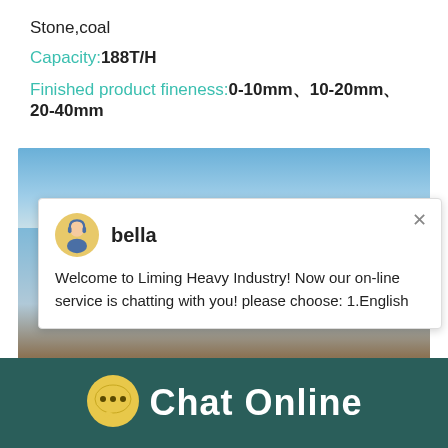Stone,coal
Capacity:188T/H
Finished product fineness:0-10mm、10-20mm、20-40mm
[Figure (screenshot): Screenshot of a website showing a live chat popup from 'bella' at Liming Heavy Industry, overlaid on a photo of heavy mining/crushing machinery. A chat popup says 'Welcome to Liming Heavy Industry! Now our on-line service is chatting with you! please choose: 1.English'. A blue circle badge shows '1' and a blue button says 'Click me to chat>>'.]
Chat Online